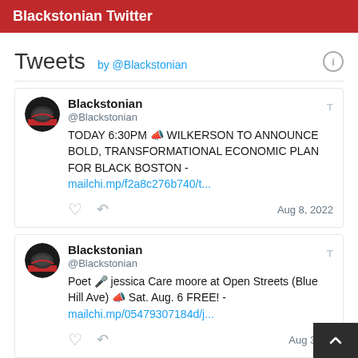Blackstonian Twitter
Tweets by @Blackstonian
Blackstonian @Blackstonian TODAY 6:30PM 📣 WILKERSON TO ANNOUNCE BOLD, TRANSFORMATIONAL ECONOMIC PLAN FOR BLACK BOSTON - mailchi.mp/f2a8c276b740/t... Aug 8, 2022
Blackstonian @Blackstonian Poet 🎤 jessica Care moore at Open Streets (Blue Hill Ave) 📣 Sat. Aug. 6 FREE! - mailchi.mp/05479307184d/j... Aug 3, 20